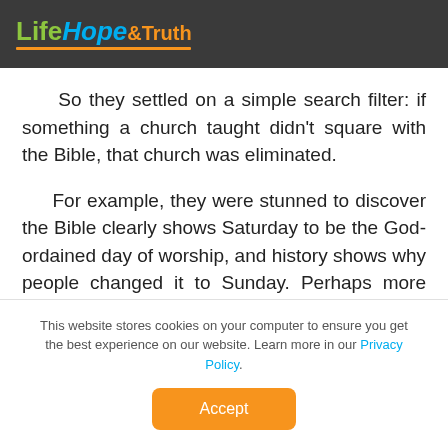Life Hope & Truth
So they settled on a simple search filter: if something a church taught didn't square with the Bible, that church was eliminated.
For example, they were stunned to discover the Bible clearly shows Saturday to be the God-ordained day of worship, and history shows why people changed it to Sunday. Perhaps more stunning was a respected minister telling them, “I’ve always known Saturday is the Sabbath, but it just doesn’t matter
This website stores cookies on your computer to ensure you get the best experience on our website. Learn more in our Privacy Policy.
Accept